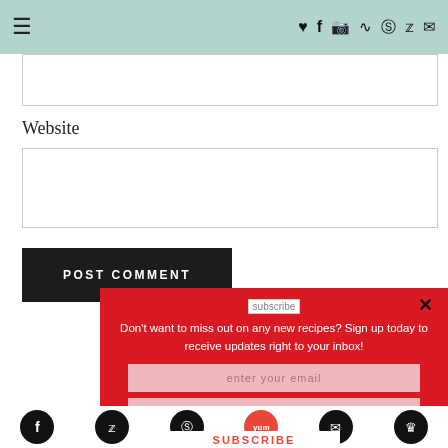≡  ♥ f [instagram] [rss] [pinterest] [twitter] [email]
(email input field — partially visible)
Website
(website input field)
POST COMMENT
[Figure (screenshot): Red subscription popup modal with close button (×), a 'subscribe' image placeholder, text 'Don't want to miss out on any new recipes? Sign up today to receive updates right to your inbox!', two pink input fields for email and name, and a white Subscribe button.]
Don't want to miss out on any new recipes? Sign up today to receive updates right to your inbox!
enter your email
enter your name
SUBSCRIBE
[facebook] [twitter] [pinterest] [yum] [email] [crown]